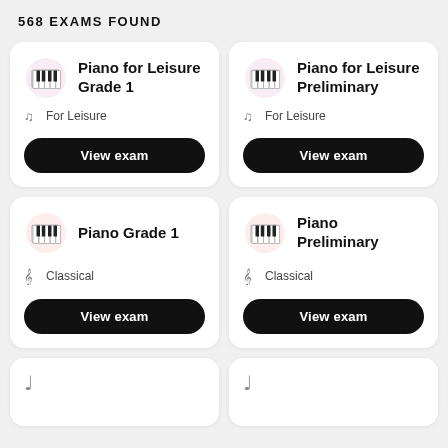568 EXAMS FOUND
Piano for Leisure Grade 1 — For Leisure — View exam
Piano for Leisure Preliminary — For Leisure — View exam
Piano Grade 1 — Classical — View exam
Piano Preliminary — Classical — View exam